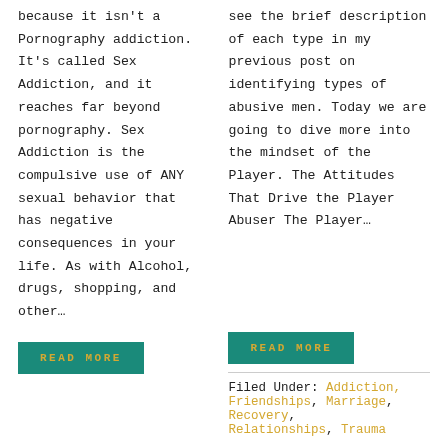because it isn't a Pornography addiction. It's called Sex Addiction, and it reaches far beyond pornography. Sex Addiction is the compulsive use of ANY sexual behavior that has negative consequences in your life. As with Alcohol, drugs, shopping, and other…
see the brief description of each type in my previous post on identifying types of abusive men. Today we are going to dive more into the mindset of the Player. The Attitudes That Drive the Player Abuser The Player…
READ MORE
READ MORE
Filed Under: Addiction, Friendships, Marriage, Recovery, Relationships, Trauma